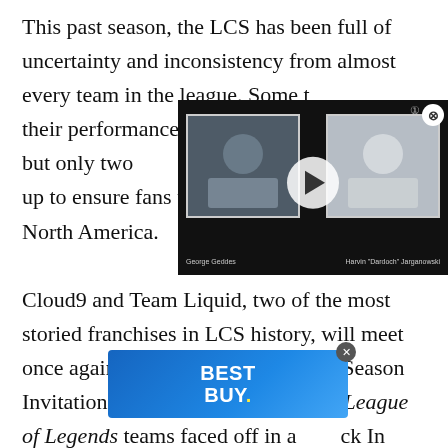This past season, the LCS has been full of uncertainty and inconsistency from almost every team in the league. Some t… their performances hit bot… rock bottom, but only two … consistently shown up to ensure fans that they are the best in North America.
[Figure (screenshot): Video overlay showing two players: George Geddes (left) and Harvin 'Dardoch' Jarganowski (right) with a play button in the center, on a dark background.]
Cloud9 and Team Liquid, two of the most storied franchises in LCS history, will meet once again, but this time in the Mid-Season Invitational. The last time these two League of Legends teams faced off in a… ck In tourna… g
[Figure (logo): Best Buy advertisement banner with blue gradient background and yellow dot after 'BUY']